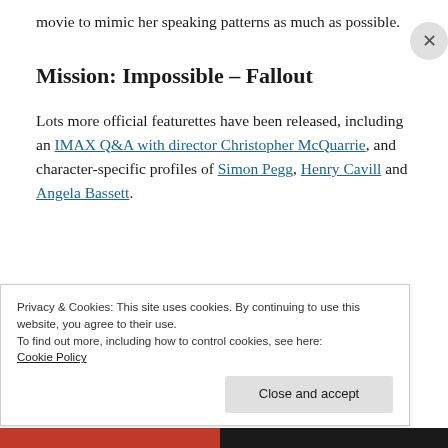movie to mimic her speaking patterns as much as possible.
Mission: Impossible – Fallout
Lots more official featurettes have been released, including an IMAX Q&A with director Christopher McQuarrie, and character-specific profiles of Simon Pegg, Henry Cavill and Angela Bassett.
Privacy & Cookies: This site uses cookies. By continuing to use this website, you agree to their use.
To find out more, including how to control cookies, see here:
Cookie Policy
Close and accept